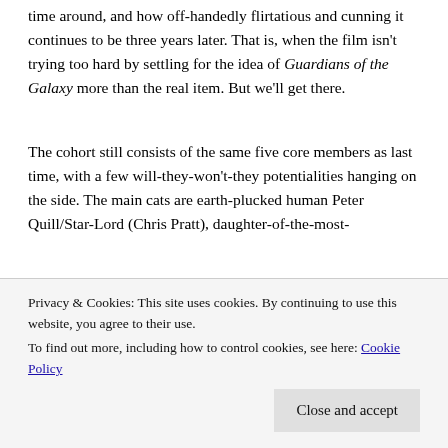time around, and how off-handedly flirtatious and cunning it continues to be three years later. That is, when the film isn't trying too hard by settling for the idea of Guardians of the Galaxy more than the real item. But we'll get there.
The cohort still consists of the same five core members as last time, with a few will-they-won't-they potentialities hanging on the side. The main cats are earth-plucked human Peter Quill/Star-Lord (Chris Pratt), daughter-of-the-most-
Privacy & Cookies: This site uses cookies. By continuing to use this website, you agree to their use.
To find out more, including how to control cookies, see here: Cookie Policy
Close and accept
(voice of Vin Diesel), here rendered in baby form after his